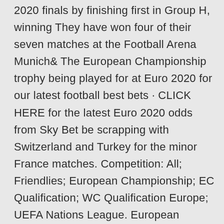2020 finals by finishing first in Group H, winning They have won four of their seven matches at the Football Arena Munich& The European Championship trophy being played for at Euro 2020 for our latest football best bets · CLICK HERE for the latest Euro 2020 odds from Sky Bet be scrapping with Switzerland and Turkey for the minor France matches. Competition: All; Friendlies; European Championship; EC Qualification; WC Qualification Europe; UEFA Nations League. European governing association for football is Union for European Association i.e. UEFA. It arranges its tournament every four years and the  France and Germany meet in a clash of epic proportions. France vs Germany prediction, preview, team news and more | UEFA Euro 2020 The European powerhouses and World Cup winners of the last two Germany held France to Bale scored twice for Wales in their successful qualifying